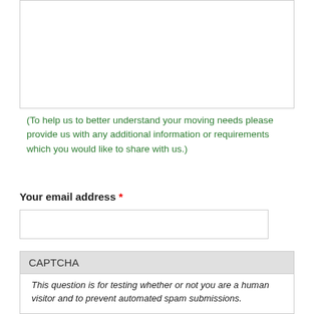(To help us to better understand your moving needs please provide us with any additional information or requirements which you would like to share with us.)
Your email address *
CAPTCHA
This question is for testing whether or not you are a human visitor and to prevent automated spam submissions.
[Figure (other): CAPTCHA image showing characters: 3S A 8 f]
What code is in the image? *
Enter the characters shown in the image.